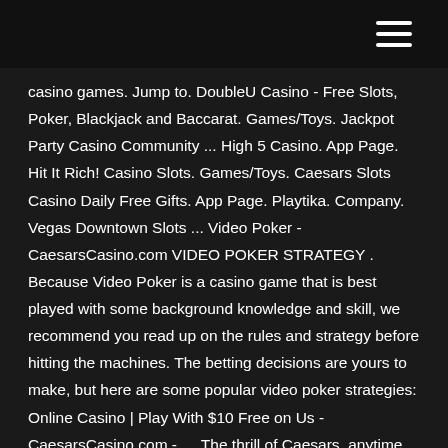casino games. Jump to. DoubleU Casino - Free Slots, Poker, Blackjack and Baccarat. Games/Toys. Jackpot Party Casino Community ... High 5 Casino. App Page. Hit It Rich! Casino Slots. Games/Toys. Caesars Slots Casino Daily Free Gifts. App Page. Playtika. Company. Vegas Downtown Slots ... Video Poker - CaesarsCasino.com VIDEO POKER STRATEGY . Because Video Poker is a casino game that is best played with some background knowledge and skill, we recommend you read up on the rules and strategy before hitting the machines. The betting decisions are yours to make, but here are some popular video poker strategies: Online Casino | Play With $10 Free on Us - CaesarsCasino.com - … The thrill of Caesars, anytime, anywhere in New Jersey, on your terms. Safe, regulated and 100% legal online gaming